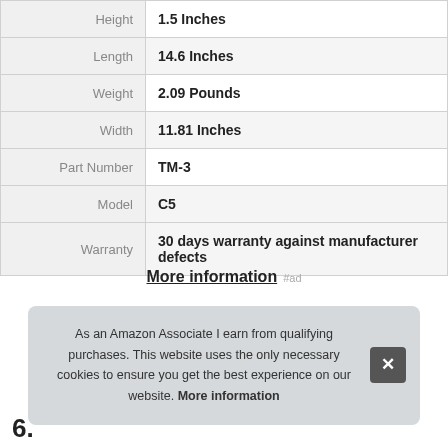| Attribute | Value |
| --- | --- |
| Height | 1.5 Inches |
| Length | 14.6 Inches |
| Weight | 2.09 Pounds |
| Width | 11.81 Inches |
| Part Number | TM-3 |
| Model | C5 |
| Warranty | 30 days warranty against manufacturer defects |
More information #ad
As an Amazon Associate I earn from qualifying purchases. This website uses the only necessary cookies to ensure you get the best experience on our website. More information
6.